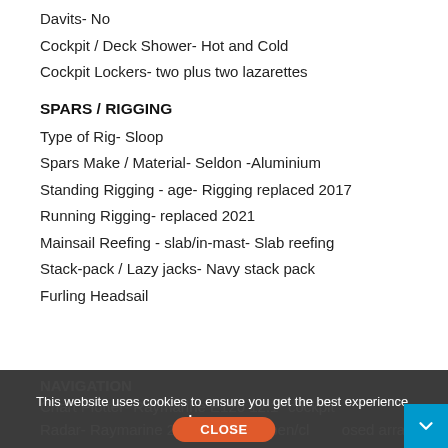Davits- No
Cockpit / Deck Shower- Hot and Cold
Cockpit Lockers- two plus two lazarettes
SPARS / RIGGING
Type of Rig- Sloop
Spars Make / Material- Seldon -Aluminium
Standing Rigging - age- Rigging replaced 2017
Running Rigging- replaced 2021
Mainsail Reefing - slab/in-mast- Slab reefing
Stack-pack / Lazy jacks- Navy stack pack
Furling Headsail
NAVIGATION
Chart Plotter- Raymarine E120 12.1" cockpit
Radar- Raymarine 2k open/closed array
Autopilot- Raymarine ST6002
This website uses cookies to ensure you get the best experience. Learn more